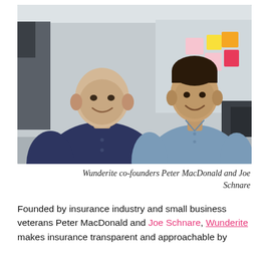[Figure (photo): Two men smiling and standing together in an office. Left person is bald wearing a dark navy henley shirt. Right person has dark hair wearing a light blue polo shirt. Colorful sticky notes are visible on a whiteboard behind them.]
Wunderite co-founders Peter MacDonald and Joe Schnare
Founded by insurance industry and small business veterans Peter MacDonald and Joe Schnare, Wunderite makes insurance transparent and approachable by